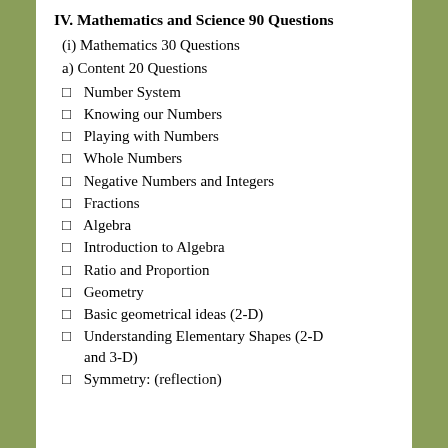IV. Mathematics and Science 90 Questions
(i) Mathematics 30 Questions
a) Content 20 Questions
Number System
Knowing our Numbers
Playing with Numbers
Whole Numbers
Negative Numbers and Integers
Fractions
Algebra
Introduction to Algebra
Ratio and Proportion
Geometry
Basic geometrical ideas (2-D)
Understanding Elementary Shapes (2-D and 3-D)
Symmetry: (reflection)